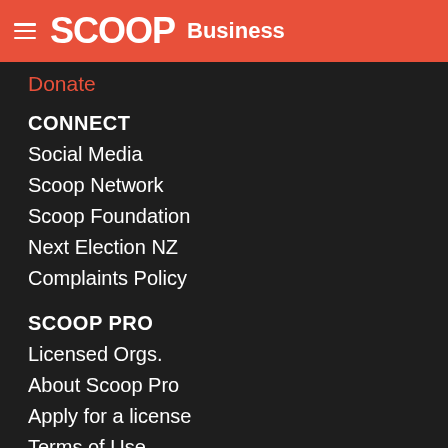SCOOP Business
Donate
CONNECT
Social Media
Scoop Network
Scoop Foundation
Next Election NZ
Complaints Policy
SCOOP PRO
Licensed Orgs.
About Scoop Pro
Apply for a license
Terms of Use
© Scoop Media